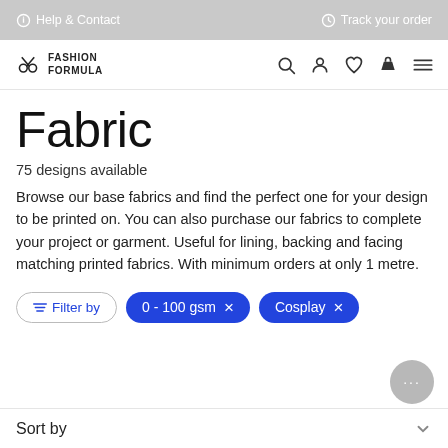Help & Contact   Track your order
[Figure (logo): Fashion Formula logo with scissors icon and brand name]
Fabric
75 designs available
Browse our base fabrics and find the perfect one for your design to be printed on. You can also purchase our fabrics to complete your project or garment. Useful for lining, backing and facing matching printed fabrics. With minimum orders at only 1 metre.
Filter by   0 - 100 gsm ×   Cosplay ×
Sort by